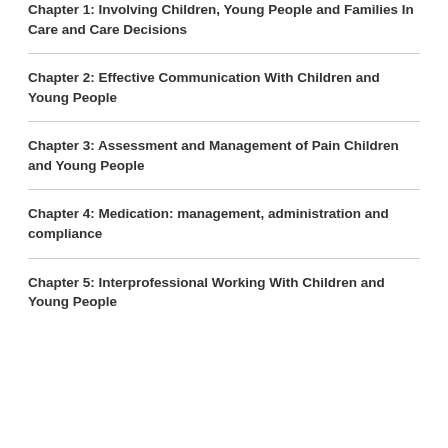Chapter 1: Involving Children, Young People and Families In Care and Care Decisions
Chapter 2: Effective Communication With Children and Young People
Chapter 3: Assessment and Management of Pain Children and Young People
Chapter 4: Medication: management, administration and compliance
Chapter 5: Interprofessional Working With Children and Young People